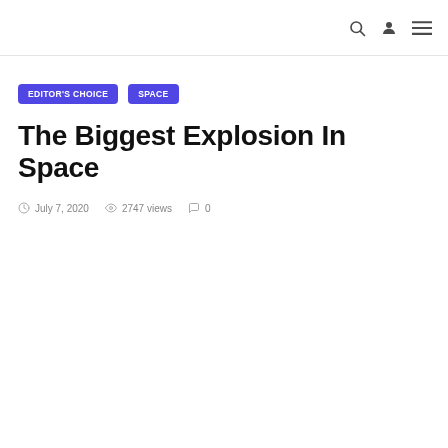EDITOR'S CHOICE   SPACE
The Biggest Explosion In Space
July 7, 2020   2747 views   0